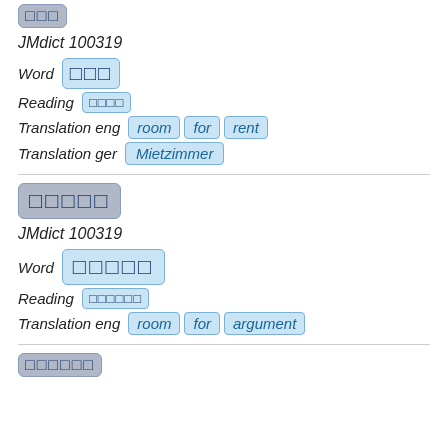□□□ (kanji badge, top)
JMdict 100319
Word □□□
Reading □□□□
Translation eng  room  for  rent
Translation ger  Mietzimmer
□□□□□ (kanji badge, second entry)
JMdict 100319
Word □□□□□
Reading □□□□□□
Translation eng  room  for  argument
□□□□□□ (kanji badge, third entry, partial)